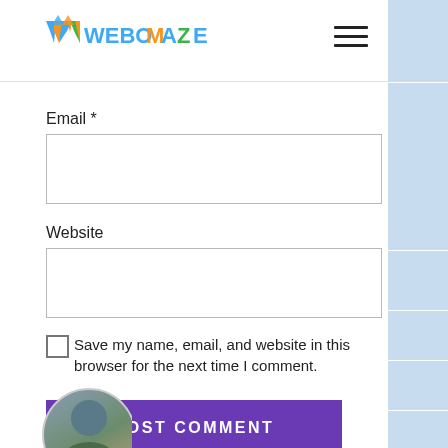WEBOMAZE
Email *
Website
Save my name, email, and website in this browser for the next time I comment.
POST COMMENT
[Figure (photo): Circular avatar photo of a person]